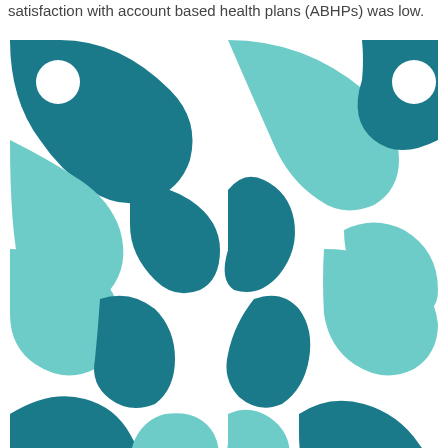satisfaction with account based health plans (ABHPs) was low.
[Figure (logo): Decorative symmetrical logo/pattern composed of teal and dark teal organic curved shapes and circles arranged in a 2x2 symmetric tile pattern on a white background.]